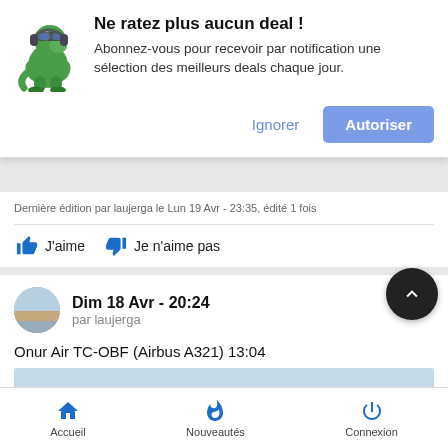Ne ratez plus aucun deal !
Abonnez-vous pour recevoir par notification une sélection des meilleurs deals chaque jour.
Ignorer | Autoriser
Dernière édition par laujerga le Lun 19 Avr - 23:35, édité 1 fois
J'aime   Je n'aime pas
Dim 18 Avr - 20:24
par laujerga
Onur Air TC-OBF (Airbus A321) 13:04
Accueil   Nouveautés   Connexion